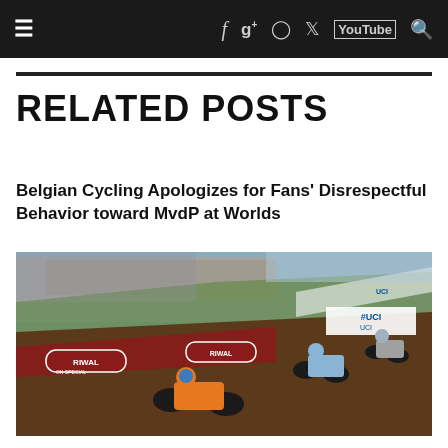≡  f  g+  ◎  🐦  YouTube  🔍
RELATED POSTS
Belgian Cycling Apologizes for Fans' Disrespectful Behavior toward MvdP at Worlds
[Figure (photo): Cyclocross race photo showing cyclists in orange and blue jerseys racing on a muddy hillside course with RIWAL sponsor banners and UCI signage, spectators in background]